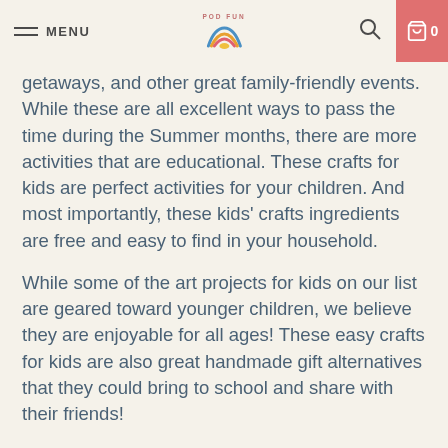MENU | POD FUN | [search] [cart 0]
getaways, and other great family-friendly events. While these are all excellent ways to pass the time during the Summer months, there are more activities that are educational. These crafts for kids are perfect activities for your children. And most importantly, these kids' crafts ingredients are free and easy to find in your household.
While some of the art projects for kids on our list are geared toward younger children, we believe they are enjoyable for all ages! These easy crafts for kids are also great handmade gift alternatives that they could bring to school and share with their friends!